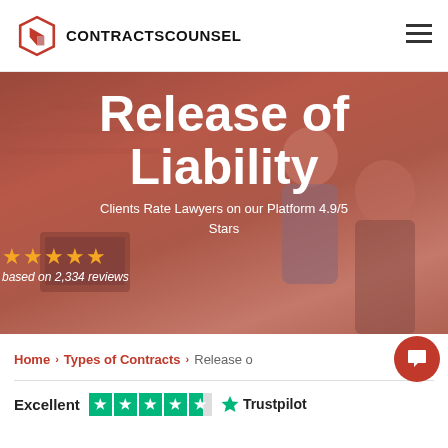CONTRACTSCOUNSEL
[Figure (photo): Background photo of office with two men in business meeting, overlaid with red/pink color tint]
Release of Liability
Clients Rate Lawyers on our Platform 4.9/5 Stars
based on 2,334 reviews
Home > Types of Contracts > Release of Liability
Excellent  Trustpilot